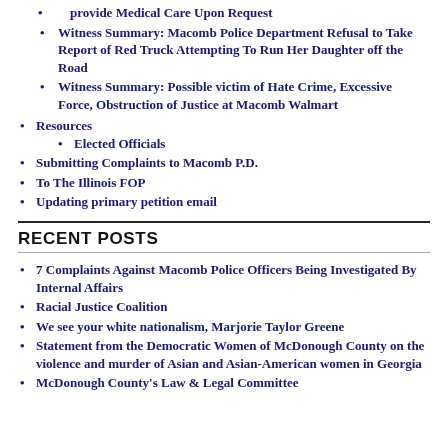provide Medical Care Upon Request
Witness Summary: Macomb Police Department Refusal to Take Report of Red Truck Attempting To Run Her Daughter off the Road
Witness Summary: Possible victim of Hate Crime, Excessive Force, Obstruction of Justice at Macomb Walmart
Resources
Elected Officials
Submitting Complaints to Macomb P.D.
To The Illinois FOP
Updating primary petition email
RECENT POSTS
7 Complaints Against Macomb Police Officers Being Investigated By Internal Affairs
Racial Justice Coalition
We see your white nationalism, Marjorie Taylor Greene
Statement from the Democratic Women of McDonough County on the violence and murder of Asian and Asian-American women in Georgia
McDonough County's Law & Legal Committee